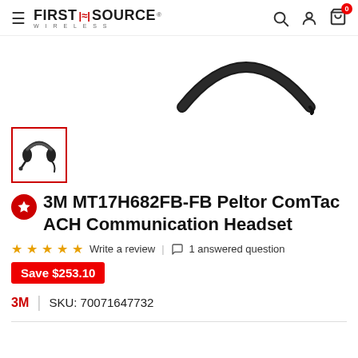First Source Wireless - header navigation
[Figure (photo): Partial view of a black headset/headband arc against white background]
[Figure (photo): Thumbnail image of 3M Peltor ComTac ACH Communication Headset, black, shown in small thumbnail with red border]
3M MT17H682FB-FB Peltor ComTac ACH Communication Headset
☆☆☆☆☆ Write a review | 💬 1 answered question
Save $253.10
3M   |   SKU: 70071647732